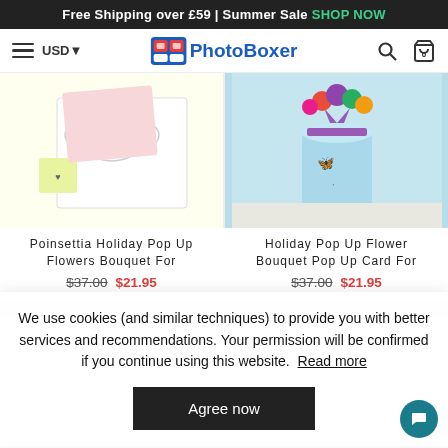Free Shipping over £59 | Summer Sale SHOP NOW
[Figure (logo): PhotoBoxer logo with boxing gloves icon and blue bold text]
[Figure (photo): Poinsettia Holiday Pop Up Flowers Bouquet card on pale yellow background]
[Figure (photo): Holiday Pop Up Flower Bouquet in a light blue decorated tin with purple ribbon and flowers]
Poinsettia Holiday Pop Up Flowers Bouquet For
$37.00  $21.95
Holiday Pop Up Flower Bouquet Pop Up Card For
$37.00  $21.95
We use cookies (and similar techniques) to provide you with better services and recommendations. Your permission will be confirmed if you continue using this website.  Read more
Agree now